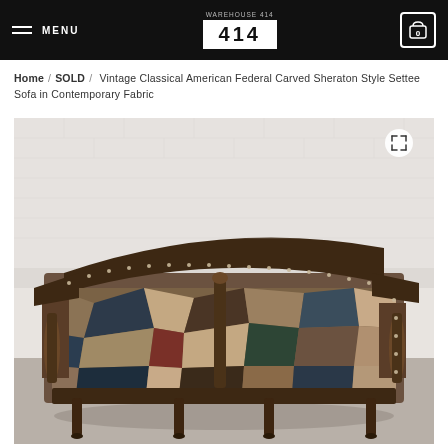MENU | 414 | 0
Home / SOLD / Vintage Classical American Federal Carved Sheraton Style Settee Sofa in Contemporary Fabric
[Figure (photo): A vintage classical American Federal carved Sheraton style settee sofa upholstered in a contemporary bold patterned fabric with geometric and abstract motifs in earth tones (browns, tans, black, muted blues). The sofa has carved dark wood legs and arms with decorative spindles and nailhead trim along the seat and back. It is photographed against a white brick wall on a concrete floor.]